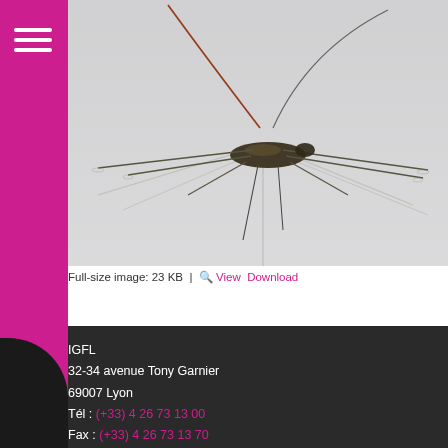[Figure (photo): Close-up photo of a water strider insect on a light grey water surface, showing its long thin legs and elongated body with reflections visible in the water.]
Full-size image: 23 KB |  View  Download
IGFL
32-34 avenue Tony Garnier
69007 Lyon
Tél : (+33) 4 26 73 13 00
Fax : (+33) 4 26 73 13 70